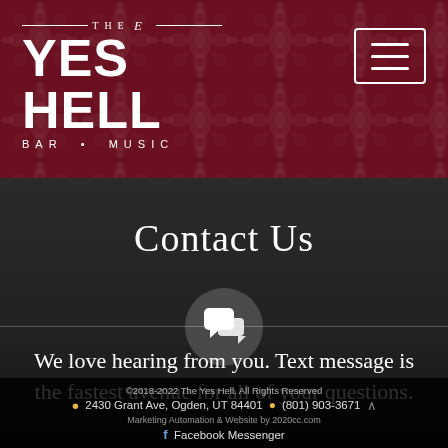[Figure (logo): The Yes Hell Bar • Music logo in white on dark red damask patterned background, with hamburger menu button in top right corner]
Contact Us
[Figure (illustration): White speech bubble / chat icon inside a semi-transparent circle]
We love hearing from you. Text message is the fastest avenue for all of your questions.
©2018-2022 The Yes Hell. All Rights Reserved   2430 Grant Ave, Ogden, UT 84401   (801) 903-3671   Marketing Automation & Website by 2020cc.com   Facebook Messenger